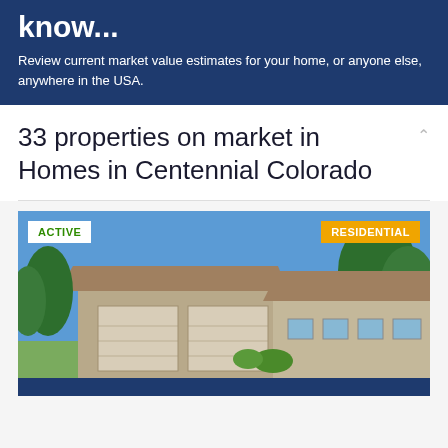know...
Review current market value estimates for your home, or anyone else, anywhere in the USA.
33 properties on market in Homes in Centennial Colorado
[Figure (photo): Exterior photo of a residential home with garage, blue sky background, badges showing ACTIVE and RESIDENTIAL]
ACTIVE | RESIDENTIAL